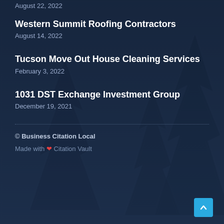August 22, 2022
Western Summit Roofing Contractors
August 14, 2022
Tucson Move Out House Cleaning Services
February 3, 2022
1031 DST Exchange Investment Group
December 19, 2021
© Business Citation Local
Made with ❤ Citation Vault